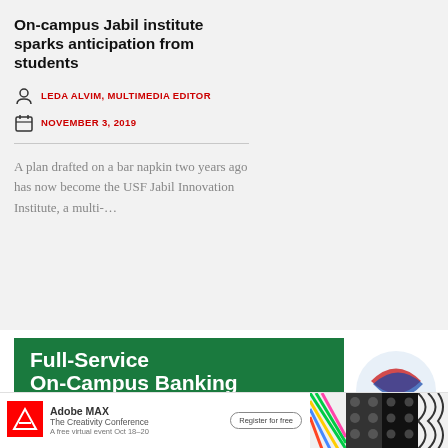[Figure (photo): Jabil building exterior with American flag and blue sky, palm trees in foreground]
On-campus Jabil institute sparks anticipation from students
LEDA ALVIM, MULTIMEDIA EDITOR
NOVEMBER 3, 2019
A plan drafted on a bar napkin two years ago has now become the USF Jabil Innovation Institute, a multi-…
[Figure (infographic): Green banner advertisement: Full-Service On-Campus Banking With the USF Bulls VISA® debit card.]
[Figure (infographic): Adobe MAX - The Creativity Conference advertisement. A free virtual event Oct 18-20. Register for free.]